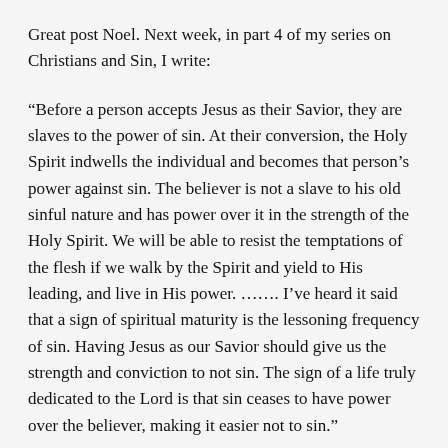Great post Noel. Next week, in part 4 of my series on Christians and Sin, I write:
“Before a person accepts Jesus as their Savior, they are slaves to the power of sin. At their conversion, the Holy Spirit indwells the individual and becomes that person’s power against sin. The believer is not a slave to his old sinful nature and has power over it in the strength of the Holy Spirit. We will be able to resist the temptations of the flesh if we walk by the Spirit and yield to His leading, and live in His power. ……. I’ve heard it said that a sign of spiritual maturity is the lessoning frequency of sin. Having Jesus as our Savior should give us the strength and conviction to not sin. The sign of a life truly dedicated to the Lord is that sin ceases to have power over the believer, making it easier not to sin.”
John 8:31,32,36 — “31….If you abide in My word, you are my disciples indeed. 32 And you shall know the truth,